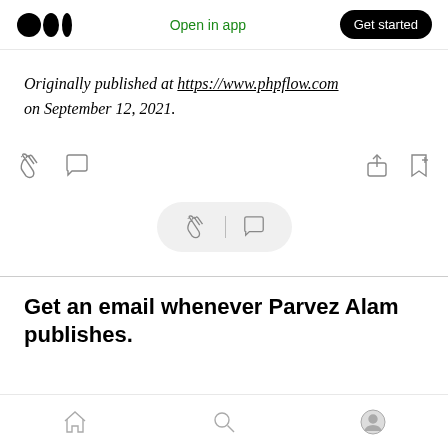Medium logo | Open in app | Get started
Originally published at https://www.phpflow.com on September 12, 2021.
[Figure (infographic): Action icons row: clapping hands, comment bubble on left; share and bookmark-plus on right]
[Figure (infographic): Floating pill with clapping hands icon, vertical divider, and comment bubble icon]
Get an email whenever Parvez Alam publishes.
Bottom navigation bar with home, search, and profile icons